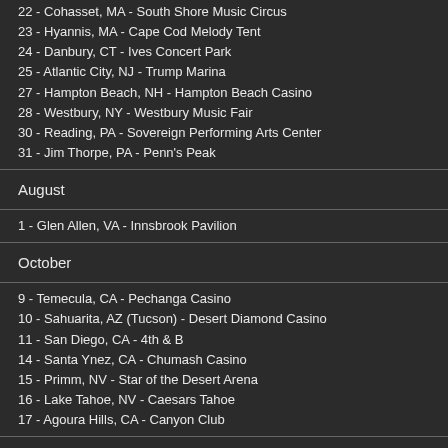22 - Cohasset, MA - South Shore Music Circus
23 - Hyannis, MA - Cape Cod Melody Tent
24 - Danbury, CT - Ives Concert Park
25 - Atlantic City, NJ - Trump Marina
27 - Hampton Beach, NH - Hampton Beach Casino
28 - Westbury, NY - Westbury Music Fair
30 - Reading, PA - Sovereign Performing Arts Center
31 - Jim Thorpe, PA - Penn's Peak
August
1 - Glen Allen, VA - Innsbrook Pavilion
October
9 - Temecula, CA - Pechanga Casino
10 - Sahuarita, AZ (Tucson) - Desert Diamond Casino
11 - San Diego, CA - 4th & B
14 - Santa Ynez, CA - Chumash Casino
15 - Primm, NV - Star of the Desert Arena
16 - Lake Tahoe, NV - Caesars Tahoe
17 - Agoura Hills, CA - Canyon Club
Typical set list: